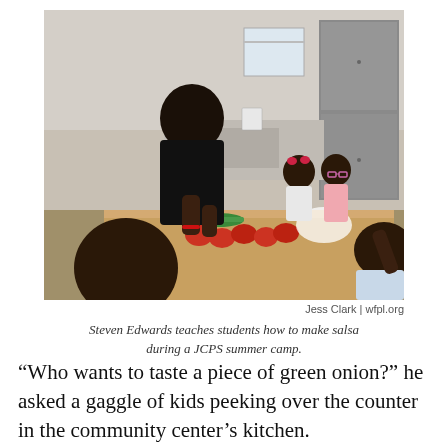[Figure (photo): A man in a black shirt stands at a wooden table showing children how to prepare vegetables (tomatoes, green onions, herbs) in an institutional kitchen. Several children sit or stand around the table looking at the food.]
Jess Clark | wfpl.org
Steven Edwards teaches students how to make salsa during a JCPS summer camp.
“Who wants to taste a piece of green onion?” he asked a gaggle of kids peeking over the counter in the community center’s kitchen.